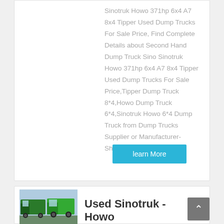Sinotruk Howo 371hp 6x4 A7 8x4 Tipper Used Dump Trucks For Sale Price, Find Complete Details about Second Hand Dump Truck Sino Sinotruk Howo 371hp 6x4 A7 8x4 Tipper Used Dump Trucks For Sale Price,Tipper Dump Truck 8*4,Howo Dump Truck 6*4,Sinotruk Howo 6*4 Dump Truck from Dump Trucks Supplier or Manufacturer-Shandong ...
learn More
[Figure (photo): Green Sinotruk Howo dump truck parked near other trucks]
Used Sinotruk - Howo